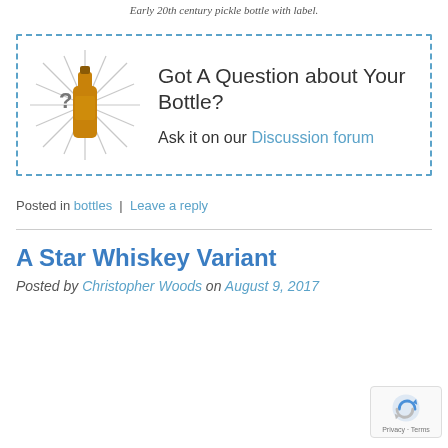Early 20th century pickle bottle with label.
[Figure (illustration): Dashed blue border box with an illustration of an amber bottle with radiating lines and a question mark, alongside text 'Got A Question about Your Bottle? Ask it on our Discussion forum']
Posted in bottles | Leave a reply
A Star Whiskey Variant
Posted by Christopher Woods on August 9, 2017